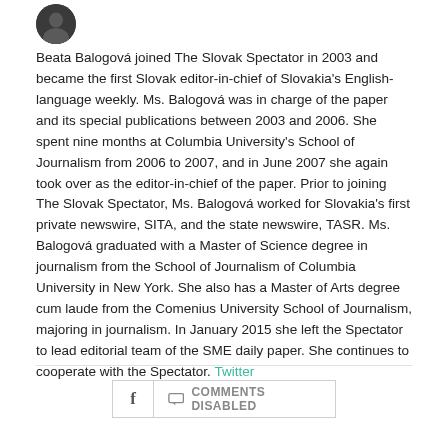[Figure (photo): Circular avatar/profile photo of Beata Balogová, dark circular image at top left]
Beata Balogová joined The Slovak Spectator in 2003 and became the first Slovak editor-in-chief of Slovakia's English-language weekly. Ms. Balogová was in charge of the paper and its special publications between 2003 and 2006. She spent nine months at Columbia University's School of Journalism from 2006 to 2007, and in June 2007 she again took over as the editor-in-chief of the paper. Prior to joining The Slovak Spectator, Ms. Balogová worked for Slovakia's first private newswire, SITA, and the state newswire, TASR. Ms. Balogová graduated with a Master of Science degree in journalism from the School of Journalism of Columbia University in New York. She also has a Master of Arts degree cum laude from the Comenius University School of Journalism, majoring in journalism. In January 2015 she left the Spectator to lead editorial team of the SME daily paper. She continues to cooperate with the Spectator. Twitter
[Figure (infographic): Social sharing bar with Facebook button and Comments Disabled button]